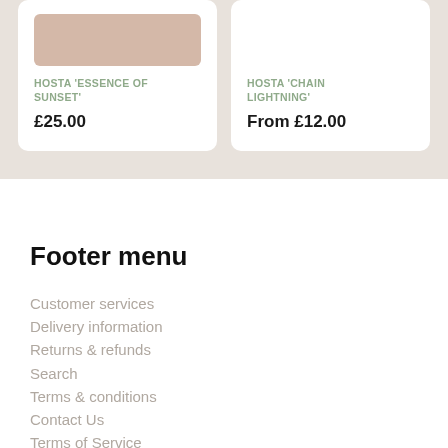[Figure (photo): Product card for Hosta 'Essence of Sunset' showing a partial product image placeholder at top, product name in green uppercase text, and price £25.00]
[Figure (photo): Product card for Hosta 'Chain Lightning' showing product name in green uppercase text, and price From £12.00]
Footer menu
Customer services
Delivery information
Returns & refunds
Search
Terms & conditions
Contact Us
Terms of Service
Refund policy
Keep in Touch